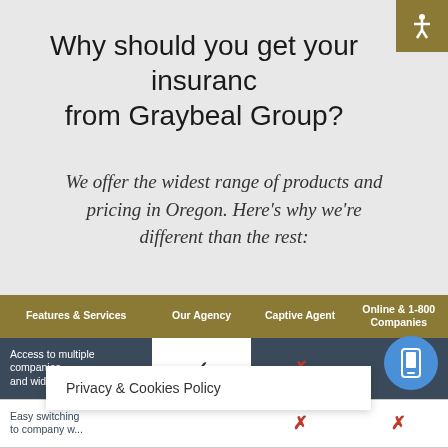Why should you get your insurance from Graybeal Group?
We offer the widest range of products and pricing in Oregon. Here's why we're different than the rest:
| Features & Services | Our Agency | Captive Agent | Online & 1-800 Companies |
| --- | --- | --- | --- |
| Access to multiple companies and wide range of products | ✓ | ✗ |  |
| Easy switching to company w... |  | ✗ | ✗ |
Privacy & Cookies Policy